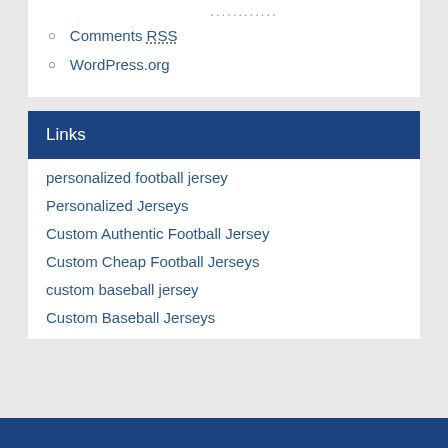Comments RSS
WordPress.org
Links
personalized football jersey
Personalized Jerseys
Custom Authentic Football Jersey
Custom Cheap Football Jerseys
custom baseball jersey
Custom Baseball Jerseys